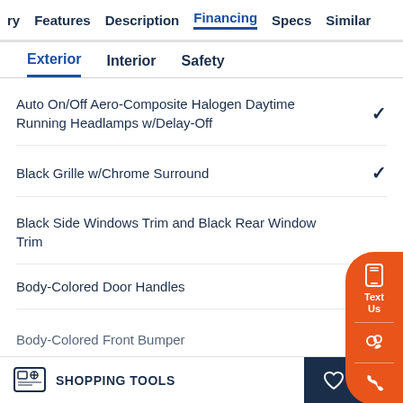ry  Features  Description  Financing  Specs  Similar
Exterior  Interior  Safety
Auto On/Off Aero-Composite Halogen Daytime Running Headlamps w/Delay-Off
Black Grille w/Chrome Surround
Black Side Windows Trim and Black Rear Window Trim
Body-Colored Door Handles
Body-Colored Front Bumper
SHOPPING TOOLS